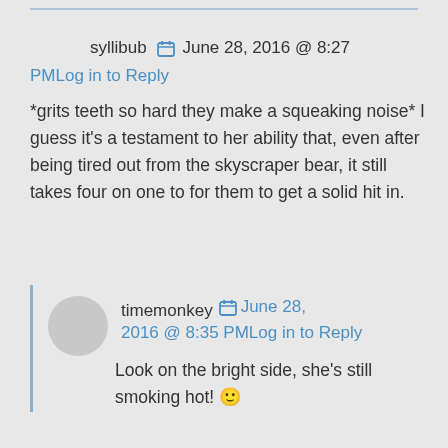syllibub   June 28, 2016 @ 8:27
PMLog in to Reply
*grits teeth so hard they make a squeaking noise* I guess it's a testament to her ability that, even after being tired out from the skyscraper bear, it still takes four on one to for them to get a solid hit in.
timemonkey   June 28, 2016 @ 8:35 PMLog in to Reply
Look on the bright side, she's still smoking hot! 🙂